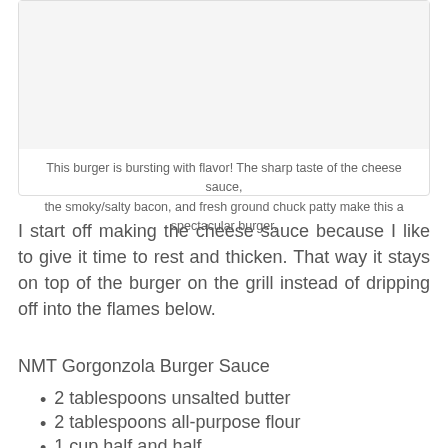[Figure (photo): Image area (photo of burger, not visible in this crop)]
This burger is bursting with flavor! The sharp taste of the cheese sauce, the smoky/salty bacon, and fresh ground chuck patty make this a spectacular burger.
I start off making the cheese sauce because I like to give it time to rest and thicken. That way it stays on top of the burger on the grill instead of dripping off into the flames below.
NMT Gorgonzola Burger Sauce
2 tablespoons unsalted butter
2 tablespoons all-purpose flour
1 cup half and half
1/3 cup crumbled gorgonzola